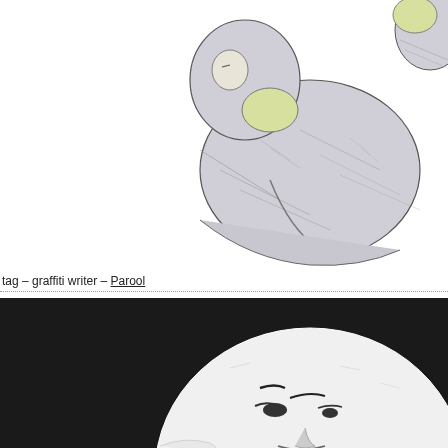[Figure (illustration): Illustration of a graffiti writer – a crouching figure in a hooded jacket with a yellow/green collar, drawn in a sketch style with grey shading. A second partial figure is visible at the top right edge.]
tag – graffiti writer – Parool
[Figure (illustration): High-contrast black and white illustration of a bald human head/face viewed from a low angle, set against a solid black background. The figure appears to be looking downward.]